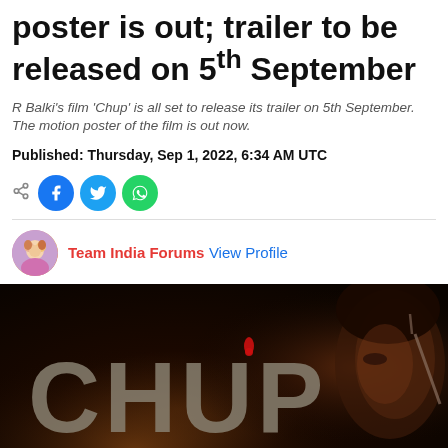poster is out; trailer to be released on 5th September
R Balki's film 'Chup' is all set to release its trailer on 5th September. The motion poster of the film is out now.
Published: Thursday, Sep 1, 2022, 6:34 AM UTC
[Figure (infographic): Social sharing icons: share, Facebook, Twitter, WhatsApp]
Team India Forums View Profile
[Figure (photo): Movie motion poster for 'CHUP' showing the logo text in dark dramatic style with an actor's face partially visible on the right side. Dark cinematic background with moody lighting.]